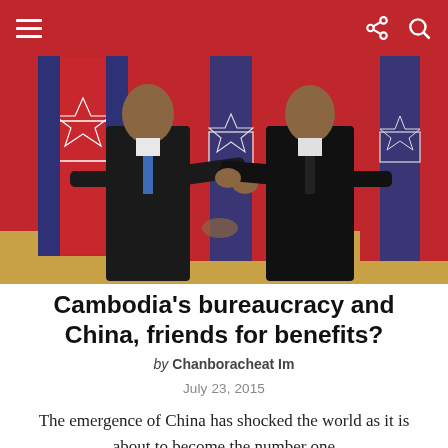Navigation bar with menu, share, and search icons
[Figure (photo): Two men in dark suits shaking hands in front of red Cambodian flags with the Angkor Wat emblem. One man is Cambodian Prime Minister Hun Sen and the other appears to be Chinese President Xi Jinping.]
Cambodia’s bureaucracy and China, friends for benefits?
by Chanboracheat Im
July 23, 2015
The emergence of China has shocked the world as it is about to become the number one